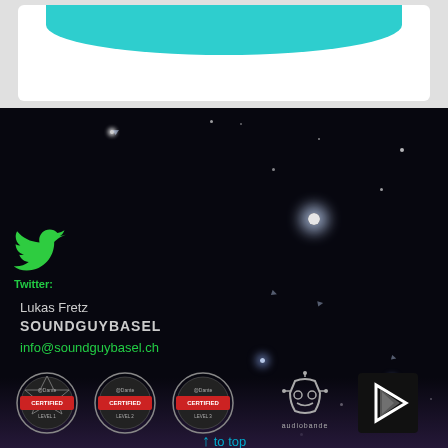[Figure (illustration): Top section with white card containing teal curved shape at top, on light gray background]
[Figure (illustration): Dark night-sky background section with scattered star/light points]
[Figure (logo): Green Twitter bird icon]
Twitter:
Lukas Fretz
SOUNDGUYBASEL
info@soundguybasel.ch
[Figure (logo): Three Dante Certified badges (Level 1, Level 2, Level 3), audiobande logo, and Plex-style triangle logo]
↑ to top